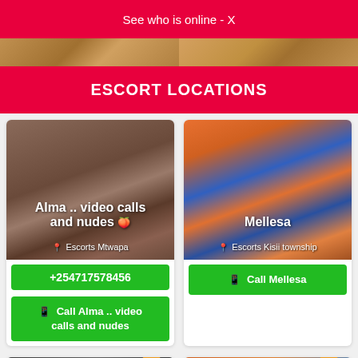See who is online - •
ESCORT LOCATIONS
[Figure (photo): Left escort card photo - person in dark outfit]
Alma .. video calls and nudes
Escorts Mtwapa
+254717578456
Call Alma .. video calls and nudes
[Figure (photo): Right escort card photo - person in orange dress]
Mellesa
Escorts Kisii township
Call Mellesa
[Figure (photo): Bottom left card - dark background with PREM badge]
[Figure (photo): Bottom right card - VIP label with PREM badge and colorful background]